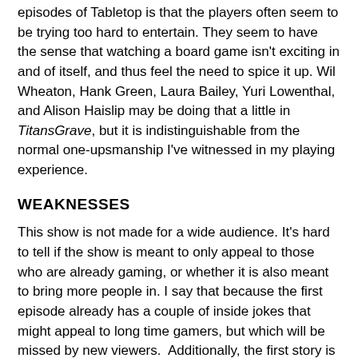episodes of Tabletop is that the players often seem to be trying too hard to entertain. They seem to have the sense that watching a board game isn't exciting in and of itself, and thus feel the need to spice it up. Wil Wheaton, Hank Green, Laura Bailey, Yuri Lowenthal, and Alison Haislip may be doing that a little in TitansGrave, but it is indistinguishable from the normal one-upsmanship I've witnessed in my playing experience.
WEAKNESSES
This show is not made for a wide audience. It's hard to tell if the show is meant to only appeal to those who are already gaming, or whether it is also meant to bring more people in. I say that because the first episode already has a couple of inside jokes that might appeal to long time gamers, but which will be missed by new viewers.  Additionally, the first story is "age confined" in that they had to bleep out profanity and that it's about drinking. This isn't a bad thing per se, and I found it quite entertaining, but it does limit your viewing audience.